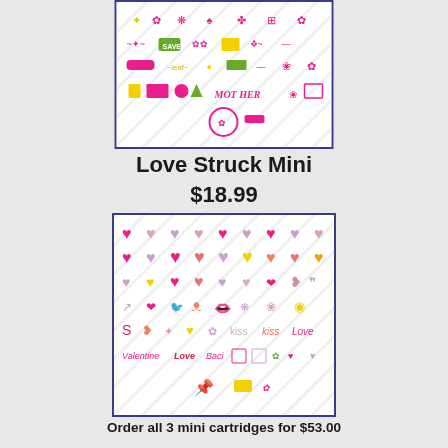[Figure (illustration): Top product image showing Mother-themed stamp cartridge icons including flowers, labels, and decorative elements in pink, yellow, and green on a white diagonal-striped background, enclosed in a blue border.]
Love Struck Mini
$18.99
[Figure (illustration): Product image showing Love Struck Mini cartridge icons: rows of hearts in pink, red, purple, yellow and orange, plus lips, love words (Valentine, Love, Baci, Kiss, Sweetheart), butterflies, arrows, and other Valentine/love-themed shapes on a white diagonal-striped background, enclosed in a blue border.]
Order all 3 mini cartridges for $53.00
Please email me at stampsalive@cox.net to order.